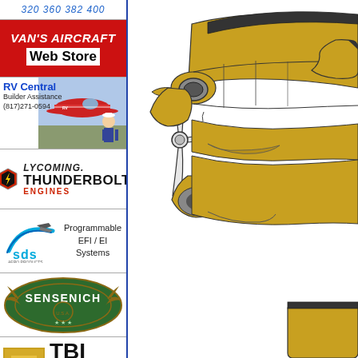[Figure (illustration): Partial top ad showing numbers 320 360 382 400 in blue italic]
[Figure (logo): Van's Aircraft Web Store red banner ad]
[Figure (photo): RV Central Builder Assistance (817)271-0594 ad with aircraft photo and person]
[Figure (logo): Lycoming Thunderbolt Engines logo ad]
[Figure (logo): SDS Aero Products Programmable EFI/EI Systems ad]
[Figure (logo): Sensenich propeller brand logo ad]
[Figure (illustration): TBI MkII FREE SHIP $849 0-320 0-360 VAF FORUM SALE sales@rotecaerosport.com ad]
[Figure (engineering-diagram): Side view technical illustration of a yellow aircraft (RV kit plane) showing nose, propeller, cowling, and lower fuselage in gold/black/white]